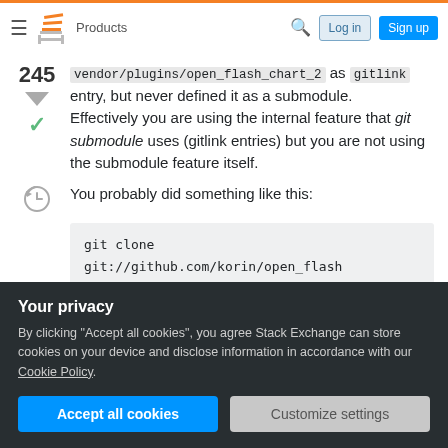Stack Overflow navigation — hamburger menu, logo, Products, search, Log in, Sign up
vendor/plugins/open_flash_chart_2 as gitlink entry, but never defined it as a submodule. Effectively you are using the internal feature that git submodule uses (gitlink entries) but you are not using the submodule feature itself.
You probably did something like this:
git clone git://github.com/korin/open_flash
git add vendor/plugins/open_flash_chart_2
This last command is the problem. The directory
Your privacy
By clicking "Accept all cookies", you agree Stack Exchange can store cookies on your device and disclose information in accordance with our Cookie Policy.
Accept all cookies
Customize settings
of adding the contents of this directory. It might be